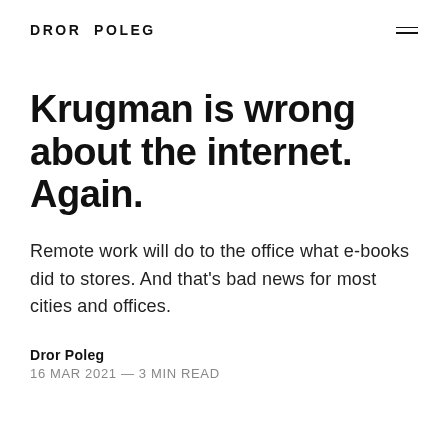DROR POLEG
Krugman is wrong about the internet. Again.
Remote work will do to the office what e-books did to stores. And that's bad news for most cities and offices.
Dror Poleg
16 MAR 2021 — 3 MIN READ